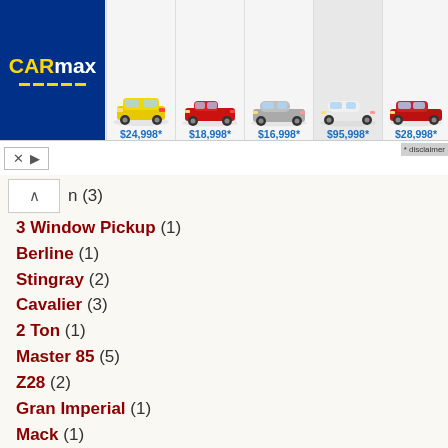[Figure (screenshot): CarMax advertisement banner with logo and 5 cars with prices: $24,998*, $18,998*, $16,998*, $95,998*, $28,998*]
n (3)
3 Window Pickup (1)
Berline (1)
Stingray (2)
Cavalier (3)
2 Ton (1)
Master 85 (5)
Z28 (2)
Gran Imperial (1)
Mack (1)
Sierra (1)
5 Window Pickup (1)
Apache (14)
CV (1)
K20 (4)
Camaro (321)
1 Ton (1)
Independence (2)
Deluxe (17)